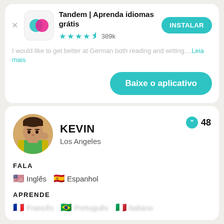[Figure (screenshot): Tandem app icon - teal and pink overlapping speech bubbles on white rounded square background]
Tandem | Aprenda idiomas grátis
★★★★½ 389k
INSTALAR
I would like to get better at German both reading and writing....Leia mais
Baixe o aplicativo
[Figure (photo): Profile photo of Kevin, a young man wearing a yellow and green jersey]
KEVIN
Los Angeles
48
FALA
🇺🇸 Inglês   🇪🇸 Espanhol
APRENDE